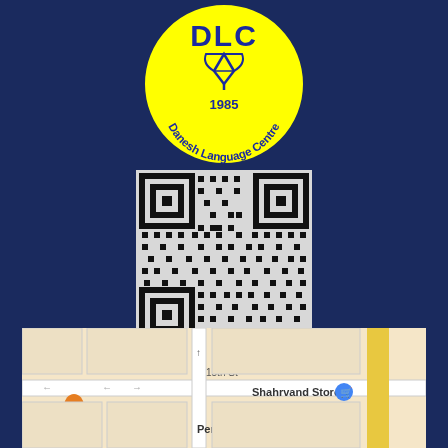[Figure (logo): DLC Danesh Language Centre logo — yellow circle with blue text 'DLC', a pen nib icon, '1985', and 'Danesh Language Centre' around the edge]
[Figure (other): QR code for Danesh Language Centre]
[Figure (map): Google Maps screenshot showing area around Danesh Language Centre with pins for Shahrvand Store, Perperook, and food locations near 15th St]